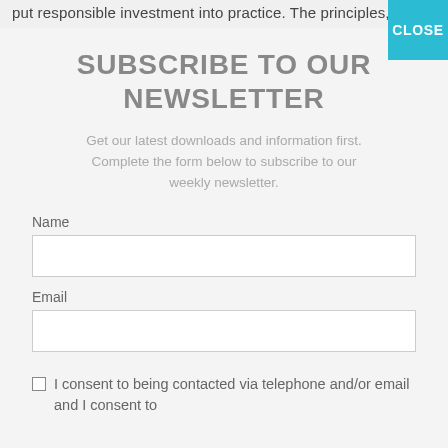put responsible investment into practice. The principles, which
SUBSCRIBE TO OUR NEWSLETTER
Get our latest downloads and information first. Complete the form below to subscribe to our weekly newsletter.
Name
Email
I consent to being contacted via telephone and/or email and I consent to